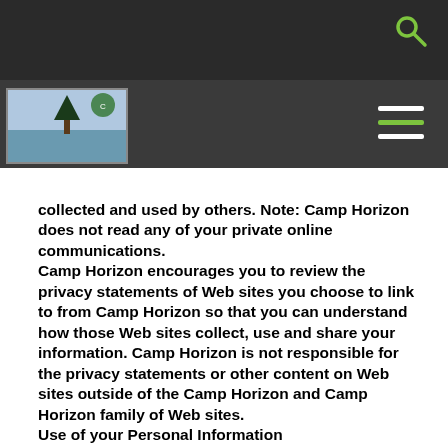[Figure (screenshot): Website header with dark top navigation bar containing a search icon, and a secondary dark bar with a camp logo image on the left and a hamburger menu icon on the right.]
collected and used by others. Note: Camp Horizon does not read any of your private online communications.
Camp Horizon encourages you to review the privacy statements of Web sites you choose to link to from Camp Horizon so that you can understand how those Web sites collect, use and share your information. Camp Horizon is not responsible for the privacy statements or other content on Web sites outside of the Camp Horizon and Camp Horizon family of Web sites.
Use of your Personal Information
Camp Horizon collects and uses your personal information to operate the Camp Horizon Web site and deliver the services you have requested.